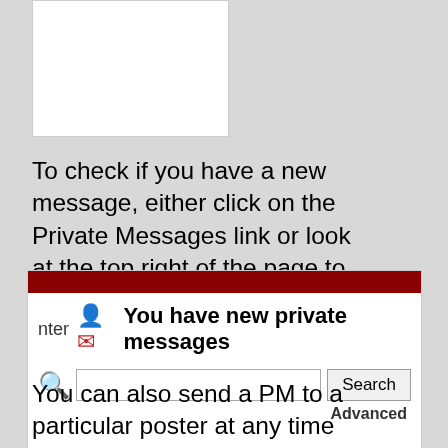[Figure (screenshot): White box area at top left (partial UI element)]
To check if you have a new message, either click on the Private Messages link or look at the top right of the page to check if you have a new messages notification.
[Figure (screenshot): Screenshot of a forum UI showing a dark red bar at top, a row with 'nter' text and a person icon followed by bold text 'You have new private messages', a search bar with magnifying glass icon, a text input, a Search button, and an 'Advanced' link below.]
You can also send a PM to a particular poster at any time by clicking the red mail